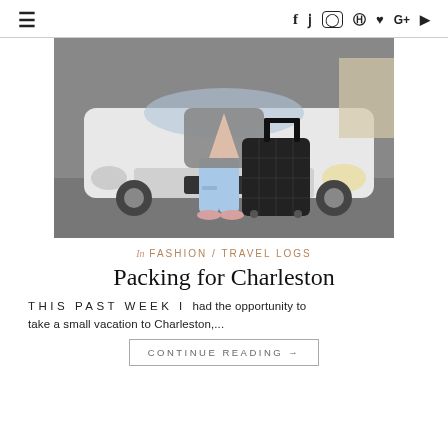≡  f  t  [instagram]  [pinterest]  [heart]  G+  [youtube]
[Figure (photo): Woman in grey chunky cardigan, light blue ripped jeans, and pink sneakers sitting on the front bumper of a white car, holding a black hard-shell rolling suitcase]
In FASHION / TRAVEL LOGS
Packing for Charleston
THIS PAST WEEK I  had the opportunity to take a small vacation to Charleston,...
CONTINUE READING →